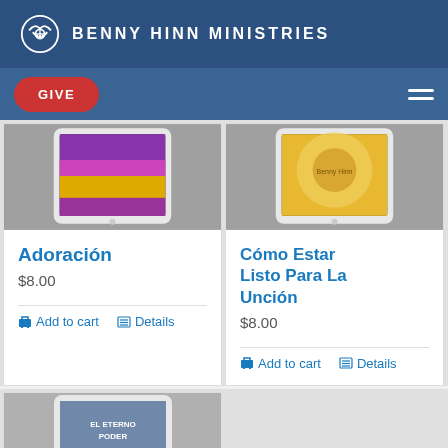BENNY HINN MINISTRIES
GIVE
[Figure (screenshot): Product image for Adoración - tablet showing colorful cover]
Adoración
$8.00
Add to cart   Details
[Figure (screenshot): Product image for Cómo Estar Listo Para La Unción - tablet showing golden cover with Benny Hinn]
Cómo Estar Listo Para La Unción
$8.00
Add to cart   Details
[Figure (screenshot): Partial product image for El Eterno Poder - tablet showing book cover]